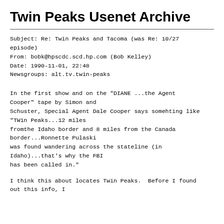Twin Peaks Usenet Archive
Subject: Re: Twin Peaks and Tacoma (was Re: 10/27 episode)
From: bobk@hpscdc.scd.hp.com (Bob Kelley)
Date: 1990-11-01, 22:48
Newsgroups: alt.tv.twin-peaks
In the first show and on the "DIANE ...the Agent Cooper" tape by Simon and Schuster, Special Agent Dale Cooper says somehting like "TWin Peaks...12 miles fromthe Idaho border and 8 miles from the Canada border...Ronnette Pulaski was found wandering across the stateline (in Idaho)...that's why the FBI has been called in."
I think this about locates Twin Peaks.  Before I found out this info, I